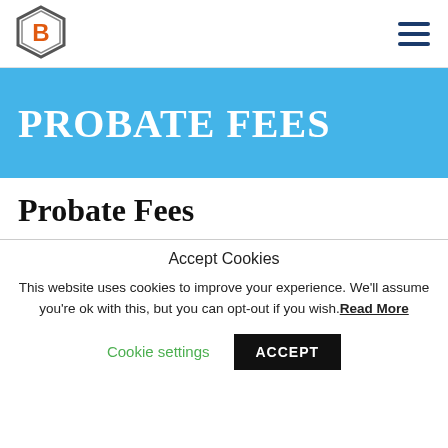[Figure (logo): Hexagonal logo with orange B letter inside]
PROBATE FEES
Probate Fees
Accept Cookies
This website uses cookies to improve your experience. We'll assume you're ok with this, but you can opt-out if you wish. Read More
Cookie settings   ACCEPT